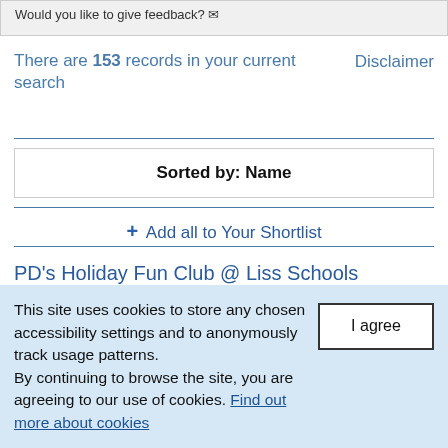Would you like to give feedback?
There are 153 records in your current search
Disclaimer
Sorted by: Name
+ Add all to Your Shortlist
PD's Holiday Fun Club @ Liss Schools
This site uses cookies to store any chosen accessibility settings and to anonymously track usage patterns. By continuing to browse the site, you are agreeing to our use of cookies. Find out more about cookies
I agree